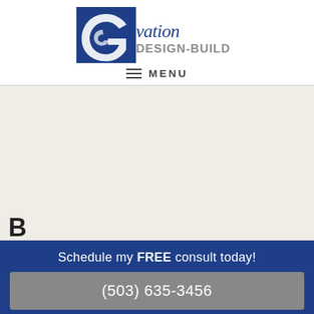[Figure (logo): Ovation Design-Build company logo with stylized G and script text]
MENU
[Figure (photo): Large light beige/cream background content area, partially visible kitchen or interior image]
Schedule my FREE consult today!
(503) 635-3456